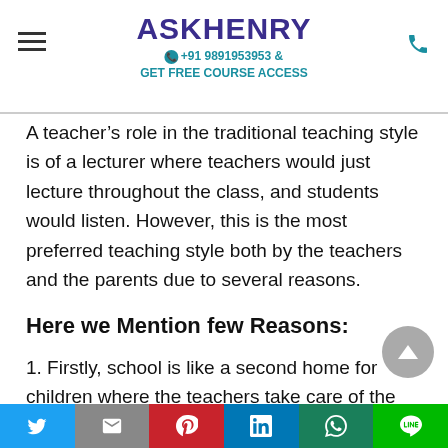ASKHENRY +91 9891953953 & GET FREE COURSE ACCESS
A teacher’s role in the traditional teaching style is of a lecturer where teachers would just lecture throughout the class, and students would listen. However, this is the most preferred teaching style both by the teachers and the parents due to several reasons.
Here we Mention few Reasons:
1. Firstly, school is like a second home for children where the teachers take care of the entire day.